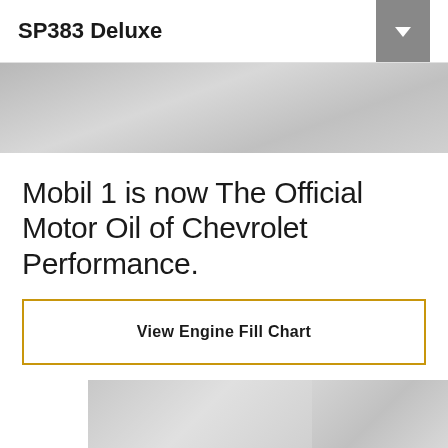SP383 Deluxe
[Figure (photo): Partial hero banner image showing a grayscale automotive/engine scene, cropped at top of page]
Mobil 1 is now The Official Motor Oil of Chevrolet Performance.
View Engine Fill Chart
[Figure (photo): Two partial thumbnail images at the bottom of the page, grayscale, showing automotive scenes]